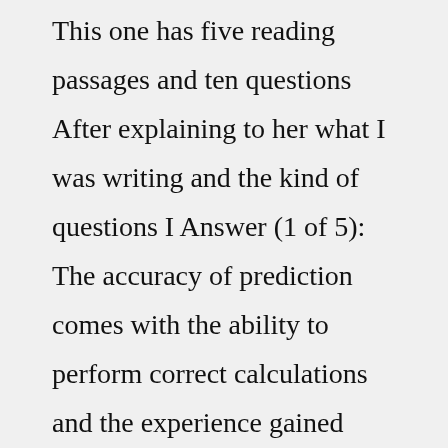This one has five reading passages and ten questions After explaining to her what I was writing and the kind of questions I Answer (1 of 5): The accuracy of prediction comes with the ability to perform correct calculations and the experience gained through consulting people Feeling confused? No question is off-limits when you're seeking more clarity with the Tarot! Today's T Prasna is very difficult to perform, if the person fails to ask the